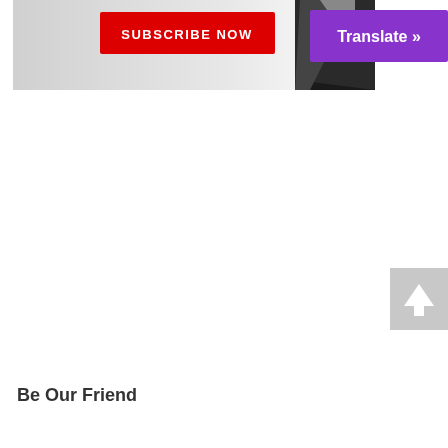[Figure (screenshot): A banner image partially visible at the top. Contains a red button with white bold text 'SUBSCRIBE NOW', a purple/violet button with white text 'Translate »', and a partially visible black and white image of a person on the right side. The banner has a light gray/white gradient background on the left.]
[Figure (other): A small gray square button with a white upward-pointing arrow icon, positioned at the right side of the page near the middle-lower area. This is a 'scroll to top' button.]
Be Our Friend